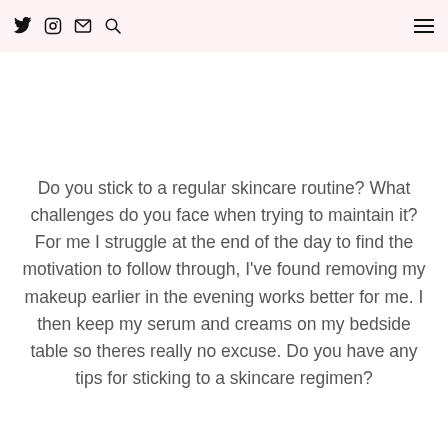Twitter Instagram Mail Search [hamburger menu]
Do you stick to a regular skincare routine? What challenges do you face when trying to maintain it? For me I struggle at the end of the day to find the motivation to follow through, I’ve found removing my makeup earlier in the evening works better for me. I then keep my serum and creams on my bedside table so theres really no excuse. Do you have any tips for sticking to a skincare regimen?